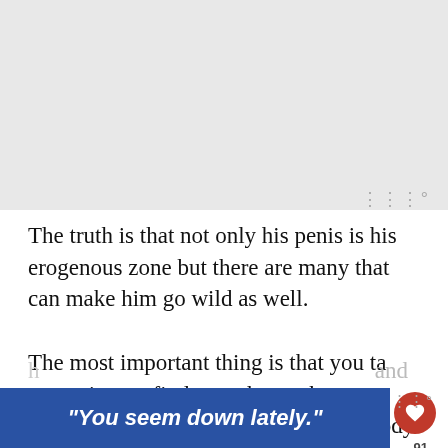[Figure (other): Gray advertisement/image placeholder area at the top of the page]
The truth is that not only his penis is his erogenous zone but there are many that can make him go wild as well.
The most important thing is that you take some time to find out what makes your man get crazy. Is it touching him on his body or maybe licking some parts of his body and
"You seem down lately."